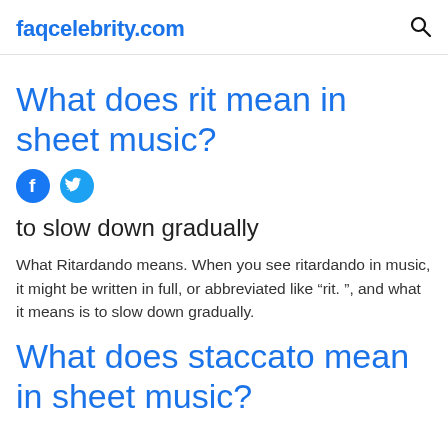faqcelebrity.com
What does rit mean in sheet music?
[Figure (illustration): Facebook and Twitter social share icons (blue circles with f and bird logos)]
to slow down gradually
What Ritardando means. When you see ritardando in music, it might be written in full, or abbreviated like “rit. ”, and what it means is to slow down gradually.
What does staccato mean in sheet music?